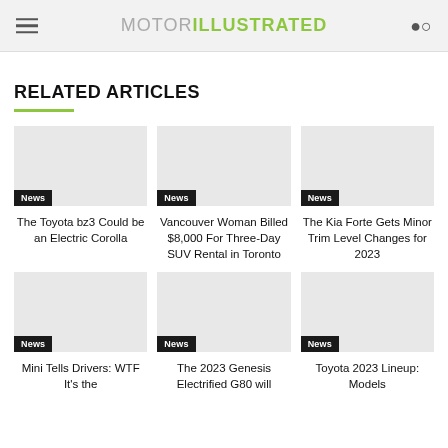MOTOR ILLUSTRATED
RELATED ARTICLES
News | The Toyota bz3 Could be an Electric Corolla
News | Vancouver Woman Billed $8,000 For Three-Day SUV Rental in Toronto
News | The Kia Forte Gets Minor Trim Level Changes for 2023
News | Mini Tells Drivers: WTF It's the
News | The 2023 Genesis Electrified G80 will
News | Toyota 2023 Lineup: Models